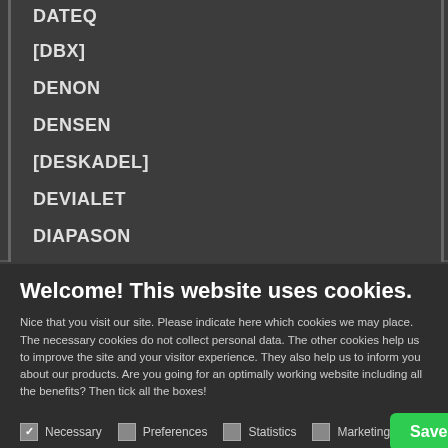DATEQ
[DBX]
DENON
DENSEN
[DESKADEL]
DEVIALET
DIAPASON
Welcome! This website uses cookies.
Nice that you visit our site. Please indicate here which cookies we may place. The necessary cookies do not collect personal data. The other cookies help us to improve the site and your visitor experience. They also help us to inform you about our products. Are you going for an optimally working website including all the benefits? Then tick all the boxes!
Necessary  Preferences  Statistics  Marketing  Save